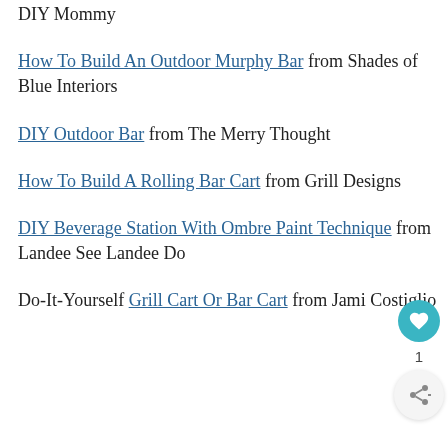DIY Mommy
How To Build An Outdoor Murphy Bar from Shades of Blue Interiors
DIY Outdoor Bar from The Merry Thought
How To Build A Rolling Bar Cart from Grill Designs
DIY Beverage Station With Ombre Paint Technique from Landee See Landee Do
Do-It-Yourself Grill Cart Or Bar Cart from Jami Costiglio